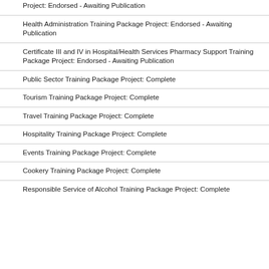Project: Endorsed - Awaiting Publication
Health Administration Training Package Project: Endorsed - Awaiting Publication
Certificate III and IV in Hospital/Health Services Pharmacy Support Training Package Project: Endorsed - Awaiting Publication
Public Sector Training Package Project: Complete
Tourism Training Package Project: Complete
Travel Training Package Project: Complete
Hospitality Training Package Project: Complete
Events Training Package Project: Complete
Cookery Training Package Project: Complete
Responsible Service of Alcohol Training Package Project: Complete